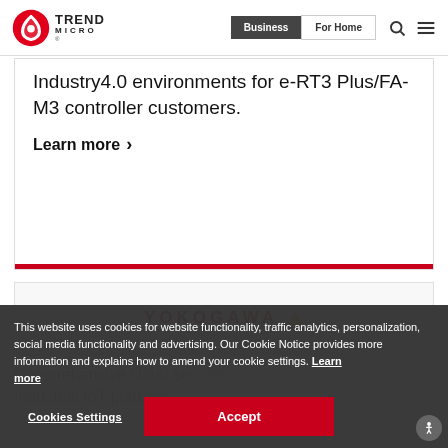[Figure (logo): Trend Micro logo with red swirl icon and TREND MICRO text]
Business | For Home
Industry4.0 environments for e-RT3 Plus/FA-M3 controller customers.
Learn more >
[Figure (logo): YOKOGAWA logo in red with yellow diamond icon]
This website uses cookies for website functionality, traffic analytics, personalization, social media functionality and advertising. Our Cookie Notice provides more information and explains how to amend your cookie settings. Learn more
Cookies Settings   Accept
Comprehensive cloud security to secure Industrial IoT platform.